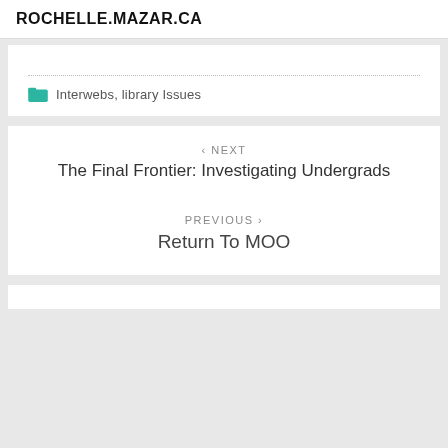ROCHELLE.MAZAR.CA
Interwebs, library Issues
< NEXT
The Final Frontier: Investigating Undergrads
PREVIOUS >
Return To MOO